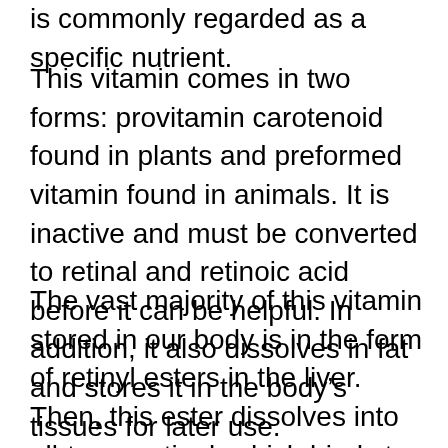is commonly regarded as a specific nutrient.
This vitamin comes in two forms: provitamin carotenoid found in plants and preformed vitamin found in animals. It is inactive and must be converted to retinal and retinoic acid before it can be helpful. In addition, it also dissolves in fat and stores it in the body’s tissues for later use.
The vast majority of this vitamin stored in our body is in the form of retinyl esters in the liver. Then, this ester dissolves into all-trans-retinol, which binds to retinol-binding protein.